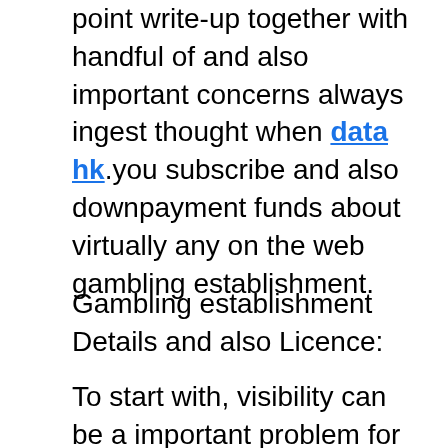point write-up together with handful of and also important concerns always ingest thought when data hk .you subscribe and also downpayment funds about virtually any on the web gambling establishment.
Gambling establishment Details and also Licence:
To start with, visibility can be a important problem for almost any enterprise. Thus, a professional on the web gambling establishment provides website visitors together with apparent details with the internet site, as well as the absence of these records can be a negative signal of your difficult to rely on gambling establishment. A professional on the web or perhaps terrain